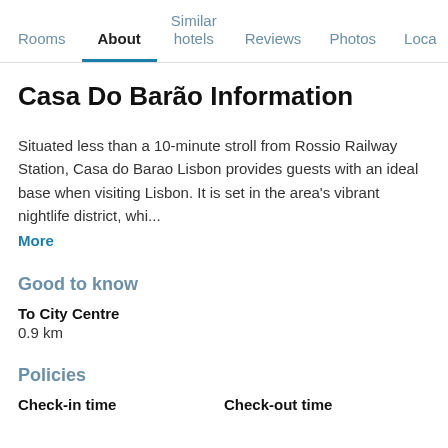Rooms | About | Similar hotels | Reviews | Photos | Loca...
Casa Do Barão Information
Situated less than a 10-minute stroll from Rossio Railway Station, Casa do Barao Lisbon provides guests with an ideal base when visiting Lisbon. It is set in the area's vibrant nightlife district, whi... More
Good to know
To City Centre
0.9 km
Policies
Check-in time
Check-out time